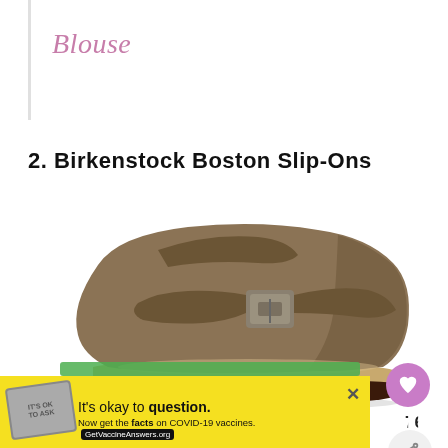Blouse
2. Birkenstock Boston Slip-Ons
[Figure (photo): Birkenstock Boston slip-on clog shoe in tan/brown suede with buckle strap and cork sole, shown on white background]
76
It's okay to question. Now get the facts on COVID-19 vaccines. GetVaccineAnswers.org